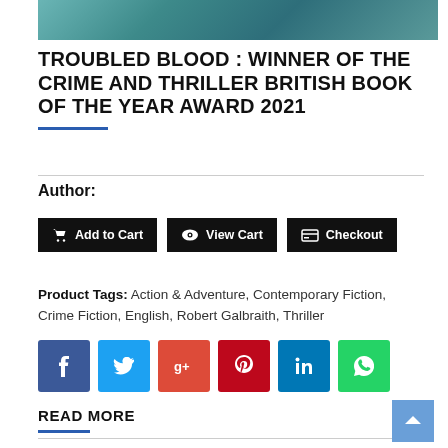[Figure (photo): Top portion of a book cover showing a dark teal/blue atmospheric scene]
TROUBLED BLOOD : WINNER OF THE CRIME AND THRILLER BRITISH BOOK OF THE YEAR AWARD 2021
Author:
Add to Cart | View Cart | Checkout (buttons)
Product Tags: Action & Adventure, Contemporary Fiction, Crime Fiction, English, Robert Galbraith, Thriller
Social share buttons: Facebook, Twitter, Google+, Pinterest, LinkedIn, WhatsApp
READ MORE